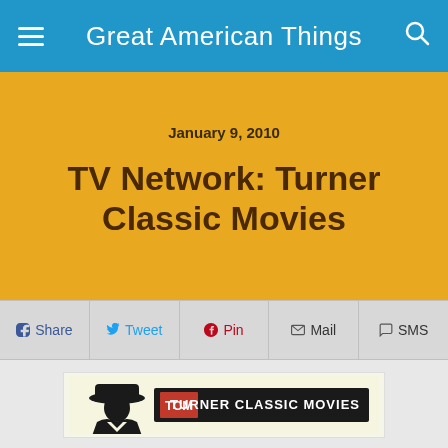Great American Things
January 9, 2010
TV Network: Turner Classic Movies
Share  Tweet  Pin  Mail  SMS
[Figure (logo): Turner Classic Movies (TCM) logo with illustrated man in hat silhouette and TCM wordmark banner]